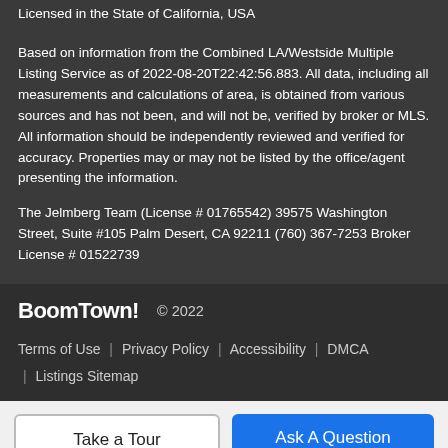Licensed in the State of California, USA
Based on information from the Combined LA/Westside Multiple Listing Service as of 2022-08-20T22:42:56.883. All data, including all measurements and calculations of area, is obtained from various sources and has not been, and will not be, verified by broker or MLS. All information should be independently reviewed and verified for accuracy. Properties may or may not be listed by the office/agent presenting the information.
The Jelmberg Team (License # 01765542) 39575 Washington Street, Suite #105 Palm Desert, CA 92211 (760) 367-7253 Broker License # 01522739
BoomTown! © 2022
Terms of Use | Privacy Policy | Accessibility | DMCA | Listings Sitemap
Take a Tour
Ask A Question